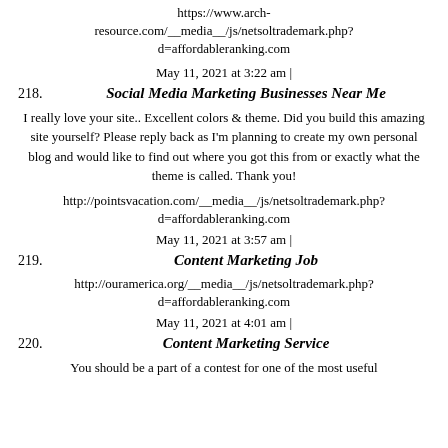https://www.arch-resource.com/__media__/js/netsoltrademark.php?d=affordableranking.com
May 11, 2021 at 3:22 am |
218. Social Media Marketing Businesses Near Me
I really love your site.. Excellent colors & theme. Did you build this amazing site yourself? Please reply back as I'm planning to create my own personal blog and would like to find out where you got this from or exactly what the theme is called. Thank you!
http://pointsvacation.com/__media__/js/netsoltrademark.php?d=affordableranking.com
May 11, 2021 at 3:57 am |
219. Content Marketing Job
http://ouramerica.org/__media__/js/netsoltrademark.php?d=affordableranking.com
May 11, 2021 at 4:01 am |
220. Content Marketing Service
You should be a part of a contest for one of the most useful